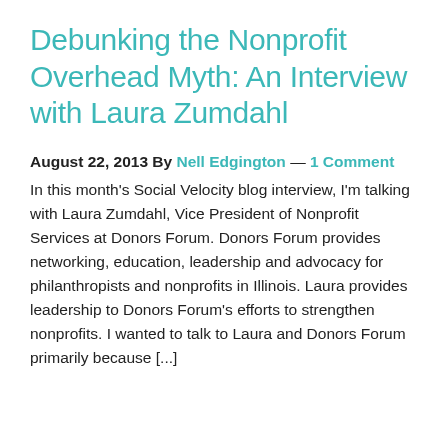Debunking the Nonprofit Overhead Myth: An Interview with Laura Zumdahl
August 22, 2013 By Nell Edgington — 1 Comment
In this month's Social Velocity blog interview, I'm talking with Laura Zumdahl, Vice President of Nonprofit Services at Donors Forum. Donors Forum provides networking, education, leadership and advocacy for philanthropists and nonprofits in Illinois. Laura provides leadership to Donors Forum's efforts to strengthen nonprofits. I wanted to talk to Laura and Donors Forum primarily because [...]